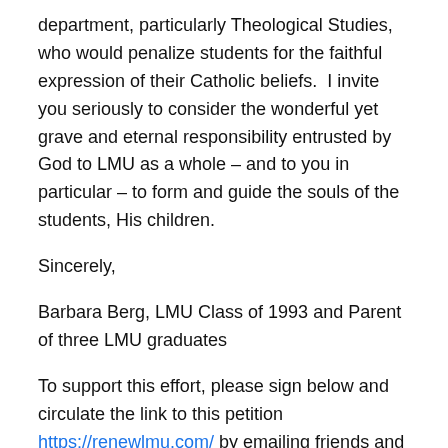department, particularly Theological Studies, who would penalize students for the faithful expression of their Catholic beliefs.  I invite you seriously to consider the wonderful yet grave and eternal responsibility entrusted by God to LMU as a whole – and to you in particular – to form and guide the souls of the students, His children.
Sincerely,
Barbara Berg, LMU Class of 1993 and Parent of three LMU graduates
To support this effort, please sign below and circulate the link to this petition https://renewlmu.com/ by emailing friends and posting on your social media.  LMU's President can be reached at 310.338.2775
Name